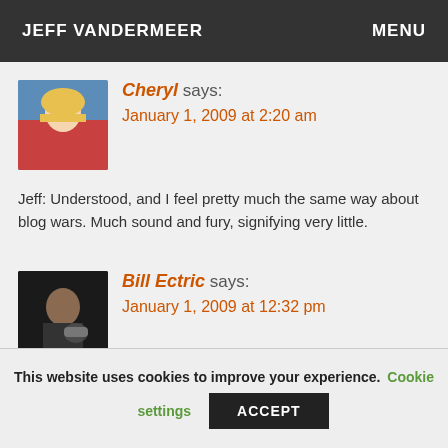JEFF VANDERMEER   MENU
[Figure (photo): Avatar photo of Cheryl, a woman with blond hair wearing a red top]
Cheryl says:
January 1, 2009 at 2:20 am
Jeff: Understood, and I feel pretty much the same way about blog wars. Much sound and fury, signifying very little.
[Figure (photo): Avatar photo of Bill Ectric, a man in dark lighting holding a cup]
Bill Ectric says:
January 1, 2009 at 12:32 pm
Whether or not they've written a book, any reviewer who likes my books is a genius.
This website uses cookies to improve your experience.   Cookie settings   ACCEPT